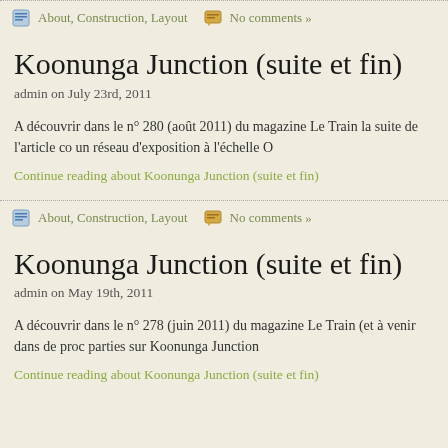About, Construction, Layout   No comments »
Koonunga Junction (suite et fin)
admin on July 23rd, 2011
A découvrir dans le n° 280 (août 2011) du magazine Le Train la suite de l'article co un réseau d'exposition à l'échelle O
Continue reading about Koonunga Junction (suite et fin)
About, Construction, Layout   No comments »
Koonunga Junction (suite et fin)
admin on May 19th, 2011
A découvrir dans le n° 278 (juin 2011) du magazine Le Train (et à venir dans de proc parties sur Koonunga Junction
Continue reading about Koonunga Junction (suite et fin)